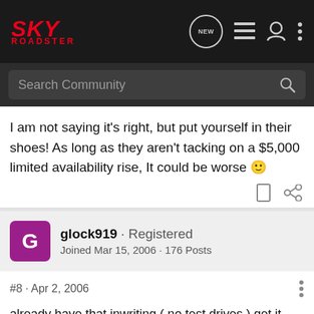SKY ROADSTER — navigation bar with search
I am not saying it's right, but put yourself in their shoes! As long as they aren't tacking on a $5,000 limited availability rise, It could be worse 🙂
glock919 · Registered
Joined Mar 15, 2006 · 176 Posts
#8 · Apr 2, 2006
already have that inwriting ( no test drives ) get it.